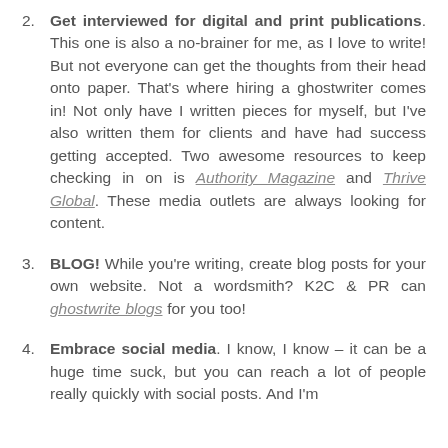2. Get interviewed for digital and print publications. This one is also a no-brainer for me, as I love to write! But not everyone can get the thoughts from their head onto paper. That's where hiring a ghostwriter comes in! Not only have I written pieces for myself, but I've also written them for clients and have had success getting accepted. Two awesome resources to keep checking in on is Authority Magazine and Thrive Global. These media outlets are always looking for content.
3. BLOG! While you're writing, create blog posts for your own website. Not a wordsmith? K2C & PR can ghostwrite blogs for you too!
4. Embrace social media. I know, I know – it can be a huge time suck, but you can reach a lot of people really quickly with social posts. And I'm